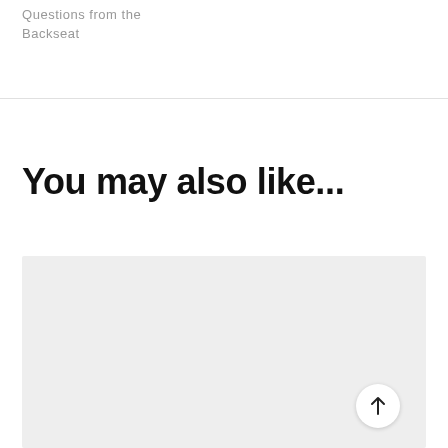Questions from the Backseat
You may also like...
[Figure (other): Light gray image placeholder rectangle below the 'You may also like...' heading]